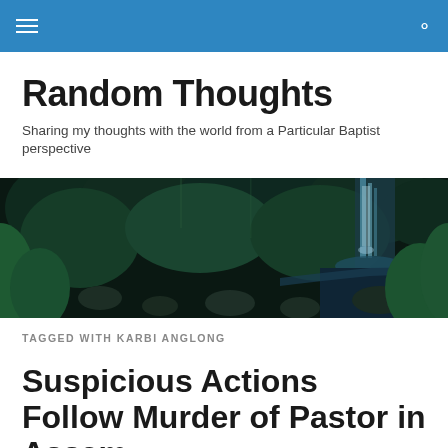Random Thoughts — navigation bar
Random Thoughts
Sharing my thoughts with the world from a Particular Baptist perspective
[Figure (photo): Dark forest scene with a waterfall and stream flowing over rocks, lush green foliage in the background]
TAGGED WITH KARBI ANGLONG
Suspicious Actions Follow Murder of Pastor in Assam,